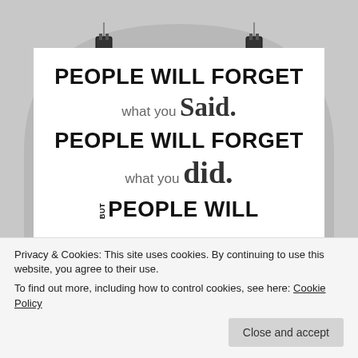[Figure (illustration): A motivational quote poster hung on binder clips against a gray arch background. The poster reads: PEOPLE WILL FORGET what you Said. PEOPLE WILL FORGET what you did. BUT PEOPLE WILL (NEVER FORGET HOW YOU MADE THEM FEEL implied below crop). Typography mixes bold all-caps sans-serif with handwritten/script styles.]
Privacy & Cookies: This site uses cookies. By continuing to use this website, you agree to their use.
To find out more, including how to control cookies, see here: Cookie Policy
Close and accept